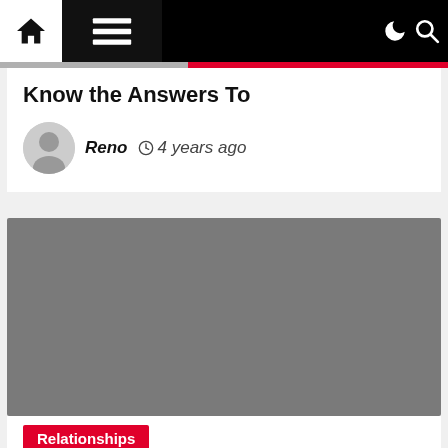Navigation bar with home, menu, dark mode, and search icons
Know the Answers To
Reno  4 years ago
[Figure (photo): Gray placeholder image block]
Relationships